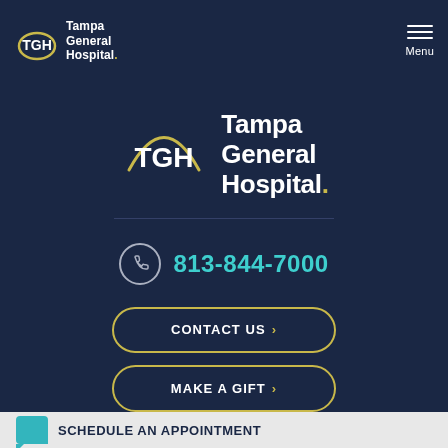[Figure (logo): Tampa General Hospital logo in header — TGH arc logo mark with 'Tampa General Hospital' text in white on dark navy background]
[Figure (logo): Tampa General Hospital large center logo — TGH arc logo mark with 'Tampa General Hospital' text in white on dark navy background]
813-844-7000
CONTACT US
MAKE A GIFT
SCHEDULE AN APPOINTMENT